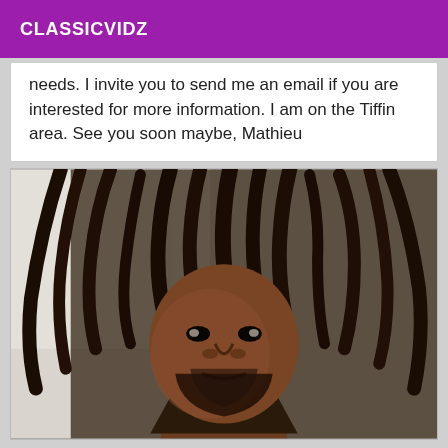CLASSICVIDZ
needs. I invite you to send me an email if you are interested for more information. I am on the Tiffin area. See you soon maybe, Mathieu
[Figure (photo): Close-up photo of a man with dreadlocks looking at the camera]